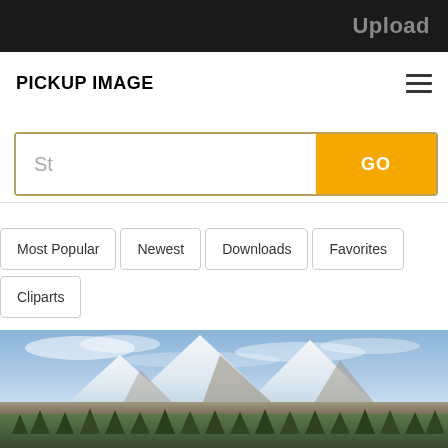Upload
PICKUP IMAGE
St
GO
Most Popular
Newest
Downloads
Favorites
Cliparts
[Figure (photo): Snow-capped mountain peak against a blue sky with clouds, forested lower slopes visible at the base]